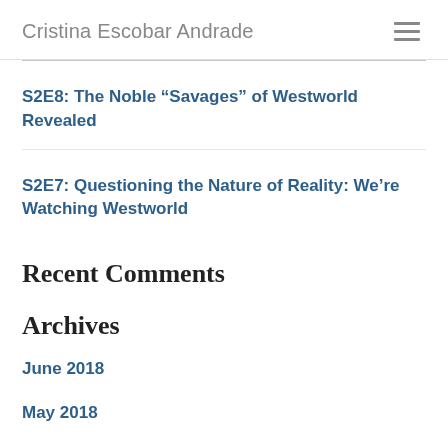Cristina Escobar Andrade
S2E8: The Noble “Savages” of Westworld Revealed
S2E7: Questioning the Nature of Reality: We’re Watching Westworld
Recent Comments
Archives
June 2018
May 2018
April 2018
January 2018